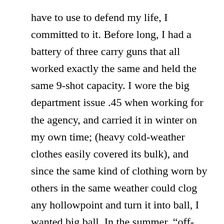have to use to defend my life, I committed to it. Before long, I had a battery of three carry guns that all worked exactly the same and held the same 9-shot capacity. I wore the big department issue .45 when working for the agency, and carried it in winter on my own time; (heavy cold-weather clothes easily covered its bulk), and since the same kind of clothing worn by others in the same weather could clog any hollowpoint and turn it into ball, I wanted big ball. In the summer, “off-duty” meant a Model 3913 9mm, and during the inbetween of spring and fall, the Model 4013 in .40 S&W seemed just right. The guns were all 100 percent for reliability. I often